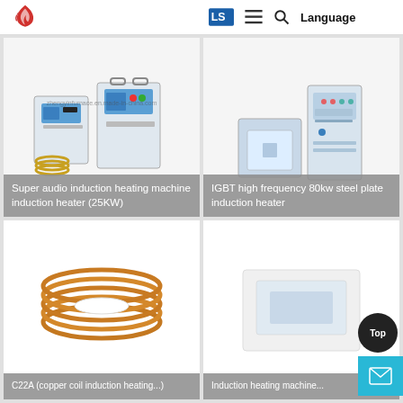[Figure (screenshot): Website header with red flame logo on left, and navigation bar with logo, hamburger menu, search icon, and Language text on right]
[Figure (photo): Industrial induction heating machines - Super audio induction heating machine induction heater (25KW) with coils shown]
Super audio induction heating machine induction heater (25KW)
[Figure (photo): IGBT high frequency 80kw steel plate induction heater - box furnace and tall cabinet unit shown]
IGBT high frequency 80kw steel plate induction heater
[Figure (photo): Copper coil/tube roll product photo]
C22A (copper coil induction heating)
[Figure (photo): Induction heating machine (bottom right card, partially visible)]
Induction heating machine